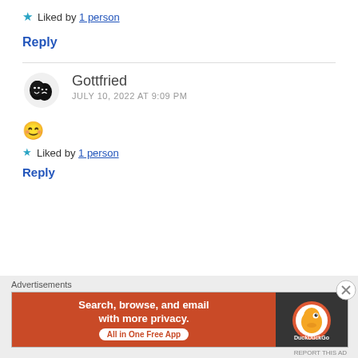★ Liked by 1 person
Reply
Gottfried
JULY 10, 2022 AT 9:09 PM
😊
★ Liked by 1 person
Reply
Advertisements
[Figure (other): DuckDuckGo advertisement banner: Search, browse, and email with more privacy. All in One Free App]